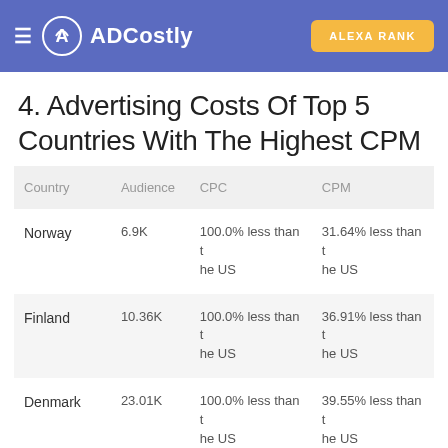ADCostly  ALEXA RANK
4. Advertising Costs Of Top 5 Countries With The Highest CPM
| Country | Audience | CPC | CPM |
| --- | --- | --- | --- |
| Norway | 6.9K | 100.0% less than the US | 31.64% less than the US |
| Finland | 10.36K | 100.0% less than the US | 36.91% less than the US |
| Denmark | 23.01K | 100.0% less than the US | 39.55% less than the US |
|  |  | 100.0% less than t he US | 34.43% less than t he US |